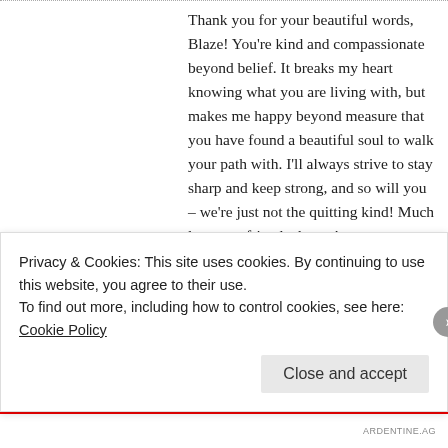Thank you for your beautiful words, Blaze! You’re kind and compassionate beyond belief. It breaks my heart knowing what you are living with, but makes me happy beyond measure that you have found a beautiful soul to walk your path with. I’ll always strive to stay sharp and keep strong, and so will you – we’re just not the quitting kind! Much love, my friend, always! 😃
★ Liked by 1 person
REPLY
[Figure (photo): Small avatar/profile photo thumbnail, partially visible]
Privacy & Cookies: This site uses cookies. By continuing to use this website, you agree to their use. To find out more, including how to control cookies, see here: Cookie Policy
Close and accept
ARDENTINE AG